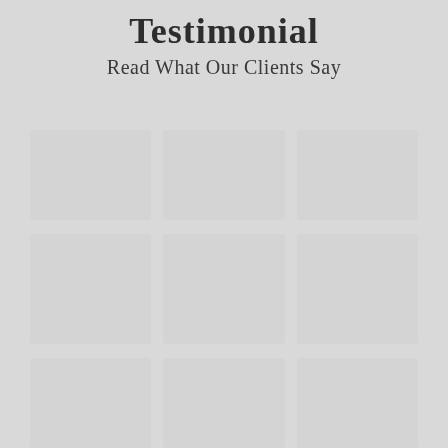Testimonial
Read What Our Clients Say